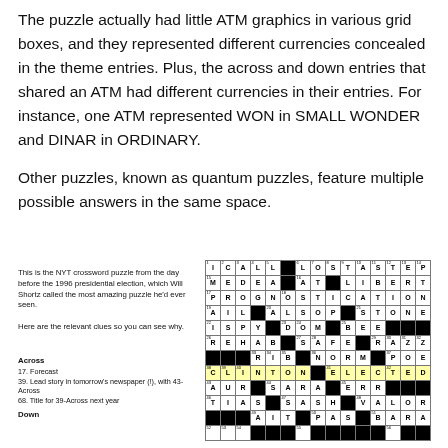The puzzle actually had little ATM graphics in various grid boxes, and they represented different currencies concealed in the theme entries. Plus, the across and down entries that shared an ATM had different currencies in their entries. For instance, one ATM represented WON in SMALL WONDER and DINAR in ORDINARY.
Other puzzles, known as quantum puzzles, feature multiple possible answers in the same space.
This is the NYT crossword puzzle from the day before the 1996 presidential election, which Will Shortz called the most amazing puzzle he'd ever seen.

Here are the relevant clues so you can see why.
Across
17. Forecast
39. Lead story in tomorrow's newspaper (!), with 43-Across
68. Title for 39-Across next year

Down
[Figure (other): NYT crossword puzzle grid showing entries including CLINTON and ELECTED highlighted in yellow]